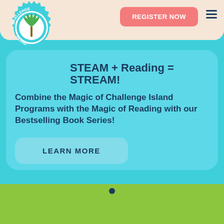[Figure (logo): Challenge Island logo: gear shape with palm tree inside, teal and white colors, text 'CHALLENGE ISLAND' around circle]
REGISTER NOW
STEAM + Reading = STREAM!
Combine the Magic of Challenge Island Programs with the Magic of Reading with our Bestselling Book Series!
LEARN MORE